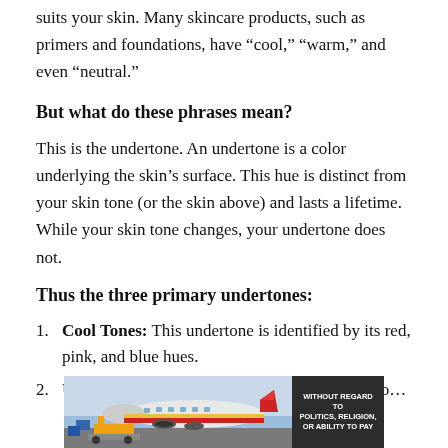suits your skin. Many skincare products, such as primers and foundations, have “cool,” “warm,” and even “neutral.”
But what do these phrases mean?
This is the undertone. An undertone is a color underlying the skin’s surface. This hue is distinct from your skin tone (or the skin above) and lasts a lifetime. While your skin tone changes, your undertone does not.
Thus the three primary undertones:
Cool Tones: This undertone is identified by its red, pink, and blue hues.
Undertones: The warm undertone is bright yellow with...
[Figure (photo): Advertisement banner showing cargo airplane being loaded, with text 'WITHOUT REGARD TO POLITICS, RELIGION, OR ABILITY TO PAY']